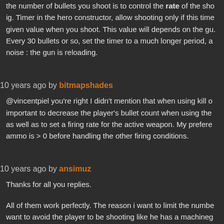the number of bullets you shoot is to control the rate of the shooting. Timer in the hero constructor, allow shooting only if this time given value when you shoot. This value will depends on the gun. Every 30 bullets or so, set the timer to a much longer period, a noise : the gun is reloading.
10 years ago by bitmapshades
@vincentpiel you're right I didn't mention that when using kill o important to decrease the player's bullet count when using the as well as to set a firing rate for the active weapon. My prefere ammo is > 0 before handling the other firing conditions.
10 years ago by ansimuz
Thanks for all you replies.
All of them work perfectly. The reason i want to limit the number want to avoid the player to be shooting like he has a machineg shoot as he were megaman or something like that.